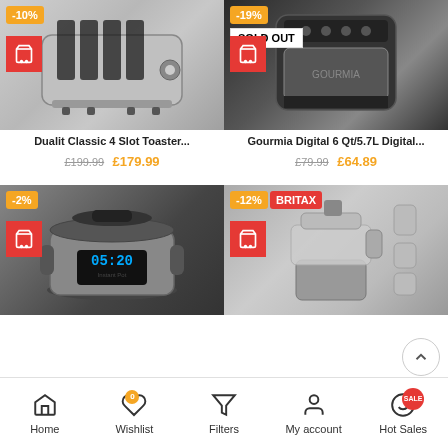[Figure (screenshot): Product listing grid for kitchen appliances on a shopping app]
Dualit Classic 4 Slot Toaster...
£199.99  £179.99
Gourmia Digital 6 Qt/5.7L Digital...
£79.99  £64.89
-10%
-19%
SOLD OUT
-2%
-12%
Home  Wishlist  Filters  My account  Hot Sales